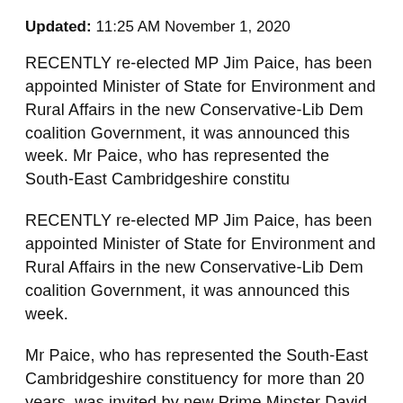Updated: 11:25 AM November 1, 2020
RECENTLY re-elected MP Jim Paice, has been appointed Minister of State for Environment and Rural Affairs in the new Conservative-Lib Dem coalition Government, it was announced this week. Mr Paice, who has represented the South-East Cambridgeshire constitu
RECENTLY re-elected MP Jim Paice, has been appointed Minister of State for Environment and Rural Affairs in the new Conservative-Lib Dem coalition Government, it was announced this week.
Mr Paice, who has represented the South-East Cambridgeshire constituency for more than 20 years, was invited by new Prime Minster David Cameron to take up the ministerial post late last week and will be responsible for overseeing the future of farming